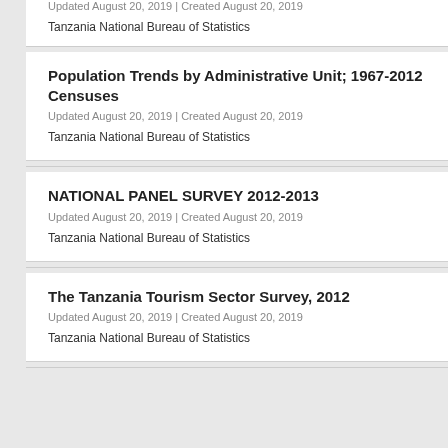Updated August 20, 2019 | Created August 20, 2019
Tanzania National Bureau of Statistics
Population Trends by Administrative Unit; 1967-2012 Censuses
Updated August 20, 2019 | Created August 20, 2019
Tanzania National Bureau of Statistics
NATIONAL PANEL SURVEY 2012-2013
Updated August 20, 2019 | Created August 20, 2019
Tanzania National Bureau of Statistics
The Tanzania Tourism Sector Survey, 2012
Updated August 20, 2019 | Created August 20, 2019
Tanzania National Bureau of Statistics